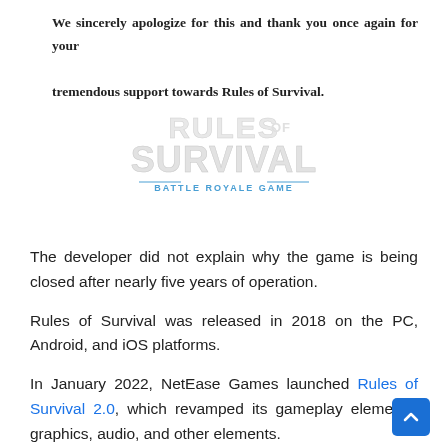We sincerely apologize for this and thank you once again for your tremendous support towards Rules of Survival.
[Figure (logo): Rules of Survival Battle Royale Game logo in white/light gray text on white background]
The developer did not explain why the game is being closed after nearly five years of operation.
Rules of Survival was released in 2018 on the PC, Android, and iOS platforms.
In January 2022, NetEase Games launched Rules of Survival 2.0, which revamped its gameplay elements, graphics, audio, and other elements.
ROS has also done several crossovers with different